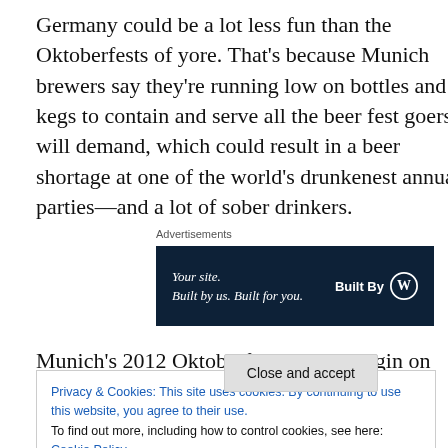Germany could be a lot less fun than the Oktoberfests of yore. That's because Munich brewers say they're running low on bottles and kegs to contain and serve all the beer fest goers will demand, which could result in a beer shortage at one of the world's drunkenest annual parties—and a lot of sober drinkers.
Advertisements
[Figure (other): Advertisement banner: dark navy background with text 'Your site. Built by us. Built for you.' and 'Built By' with WordPress logo]
Munich's 2012 Oktoberfest is set to begin on September
Privacy & Cookies: This site uses cookies. By continuing to use this website, you agree to their use. To find out more, including how to control cookies, see here: Cookie Policy
Close and accept
of that to go around. It's the supply of bottles and kegs